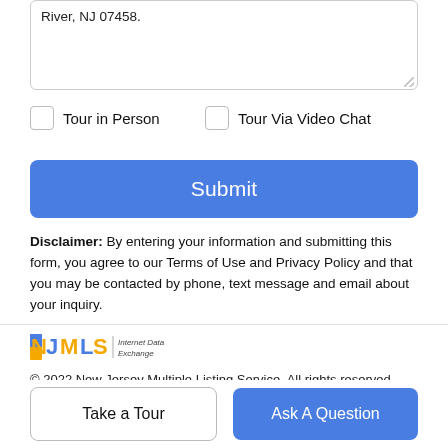River, NJ 07458.
Tour in Person
Tour Via Video Chat
Submit
Disclaimer: By entering your information and submitting this form, you agree to our Terms of Use and Privacy Policy and that you may be contacted by phone, text message and email about your inquiry.
[Figure (logo): NJMLS Internet Data Exchange logo]
© 2022 New Jersey Multiple Listing Service. All rights reserved. IDX information is provided exclusively for consumers' personal
Take a Tour
Ask A Question